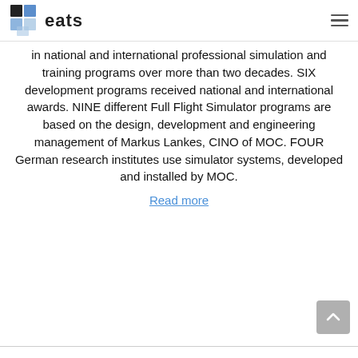eats
in national and international professional simulation and training programs over more than two decades. SIX development programs received national and international awards. NINE different Full Flight Simulator programs are based on the design, development and engineering management of Markus Lankes, CINO of MOC. FOUR German research institutes use simulator systems, developed and installed by MOC.
Read more